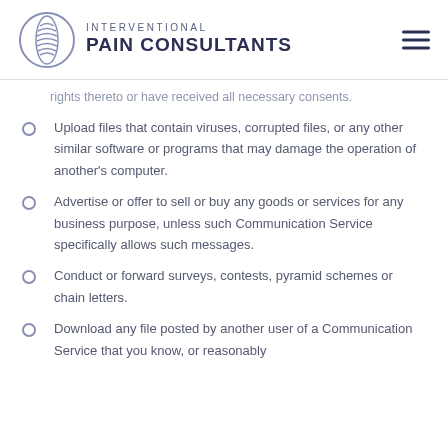INTERVENTIONAL PAIN CONSULTANTS
rights thereto or have received all necessary consents.
Upload files that contain viruses, corrupted files, or any other similar software or programs that may damage the operation of another's computer.
Advertise or offer to sell or buy any goods or services for any business purpose, unless such Communication Service specifically allows such messages.
Conduct or forward surveys, contests, pyramid schemes or chain letters.
Download any file posted by another user of a Communication Service that you know, or reasonably